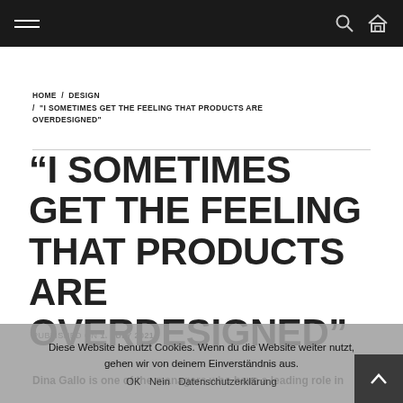Navigation bar with hamburger menu, search icon, and home icon
HOME / DESIGN / "I SOMETIMES GET THE FEELING THAT PRODUCTS ARE OVERDESIGNED"
“I SOMETIMES GET THE FEELING THAT PRODUCTS ARE OVERDESIGNED”
PUBLISHED ON 1. JULY 2021
Diese Website benutzt Cookies. Wenn du die Website weiter nutzt, gehen wir von deinem Einverständnis aus. OK Nein Datenschutzerklärung
Dina Gallo is one of the managers who have a leading role in